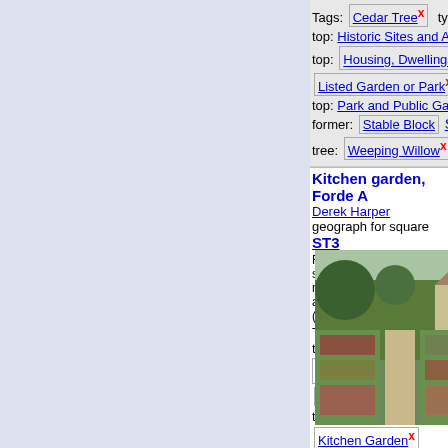[Figure (photo): Photo of park/garden with large cedar tree and green lawn]
Tags: Cedar Tree x  type: G
top: Historic Sites and Arte
top: Housing, Dwellings x
Listed Garden or Park x
top: Park and Public Garden
former: Stable Block  Sunk
tree: Weeping Willow x
Kitchen garden, Forde A
Derek Harper
geograph for square ST3
Rectangular flowerbeds surroun
miniature box hedges in a corn
(more)
Tags:
top: Farm, Fishery, Market G
Flowerbed x  type: Geogra
Historic Houses Associatio
top: Historic Sites and Artefa
Kitchen Garden x
Kitchen Garden Wall x
[Figure (photo): Photo of kitchen garden with flowerbeds and a gazebo/summerhouse]